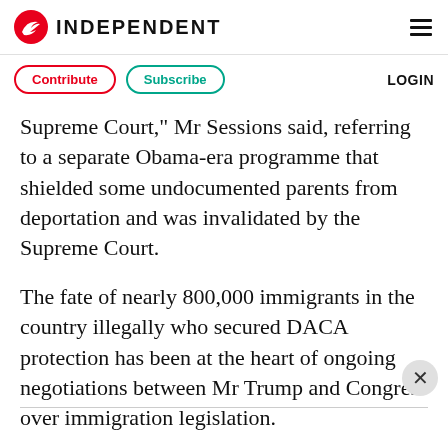INDEPENDENT
Contribute  Subscribe  LOGIN
Supreme Court," Mr Sessions said, referring to a separate Obama-era programme that shielded some undocumented parents from deportation and was invalidated by the Supreme Court.
The fate of nearly 800,000 immigrants in the country illegally who secured DACA protection has been at the heart of ongoing negotiations between Mr Trump and Congress over immigration legislation.